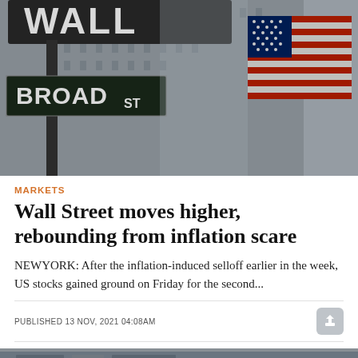[Figure (photo): Street signs showing Wall St and Broad St with an American flag in the background, blurred city buildings]
MARKETS
Wall Street moves higher, rebounding from inflation scare
NEWYORK: After the inflation-induced selloff earlier in the week, US stocks gained ground on Friday for the second...
PUBLISHED 13 NOV, 2021 04:08AM
[Figure (photo): Partial view of another news article image at the bottom of the page]